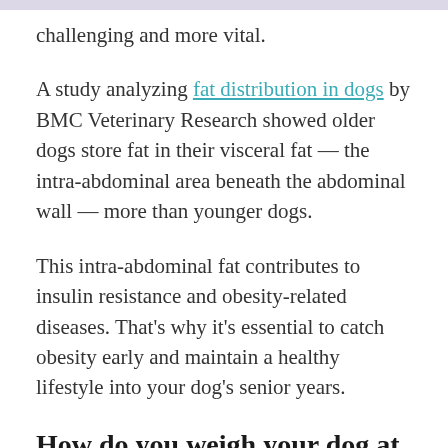challenging and more vital.
A study analyzing fat distribution in dogs by BMC Veterinary Research showed older dogs store fat in their visceral fat — the intra-abdominal area beneath the abdominal wall — more than younger dogs.
This intra-abdominal fat contributes to insulin resistance and obesity-related diseases. That's why it's essential to catch obesity early and maintain a healthy lifestyle into your dog's senior years.
How do you weigh your dog at home?